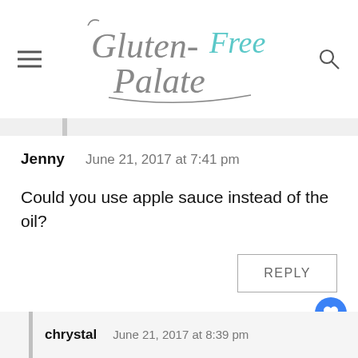Gluten-Free Palate
Jenny   June 21, 2017 at 7:41 pm
Could you use apple sauce instead of the oil?
REPLY
1.4K
chrystal   June 21, 2017 at 8:39 pm